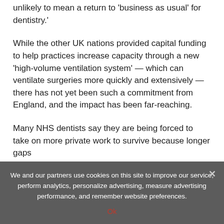unlikely to mean a return to 'business as usual' for dentistry.'
While the other UK nations provided capital funding to help practices increase capacity through a new 'high-volume ventilation system' — which can ventilate surgeries more quickly and extensively — there has not yet been such a commitment from England, and the impact has been far-reaching.
Many NHS dentists say they are being forced to take on more private work to survive because longer gaps
We and our partners use cookies on this site to improve our service, perform analytics, personalize advertising, measure advertising performance, and remember website preferences.